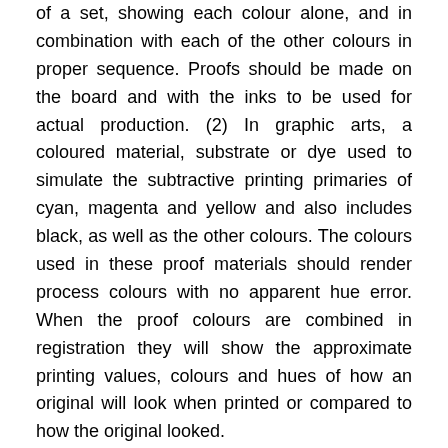of a set, showing each colour alone, and in combination with each of the other colours in proper sequence. Proofs should be made on the board and with the inks to be used for actual production. (2) In graphic arts, a coloured material, substrate or dye used to simulate the subtractive printing primaries of cyan, magenta and yellow and also includes black, as well as the other colours. The colours used in these proof materials should render process colours with no apparent hue error. When the proof colours are combined in registration they will show the approximate printing values, colours and hues of how an original will look when printed or compared to how the original looked.
Proofer – A printing device used to simulate colour achieved on press. A service bureau uses proofers to create images as contracts (also called a contract proof) to